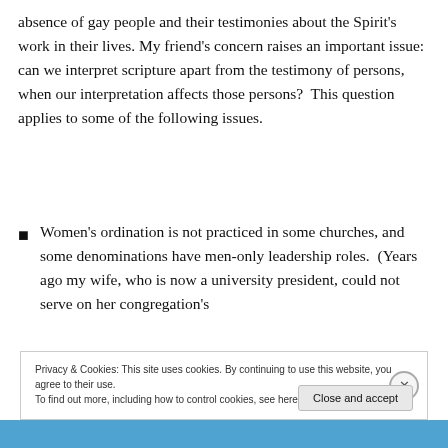absence of gay people and their testimonies about the Spirit's work in their lives. My friend's concern raises an important issue: can we interpret scripture apart from the testimony of persons, when our interpretation affects those persons?  This question applies to some of the following issues.
Women's ordination is not practiced in some churches, and some denominations have men-only leadership roles.  (Years ago my wife, who is now a university president, could not serve on her congregation's
Privacy & Cookies: This site uses cookies. By continuing to use this website, you agree to their use.
To find out more, including how to control cookies, see here: Cookie Policy